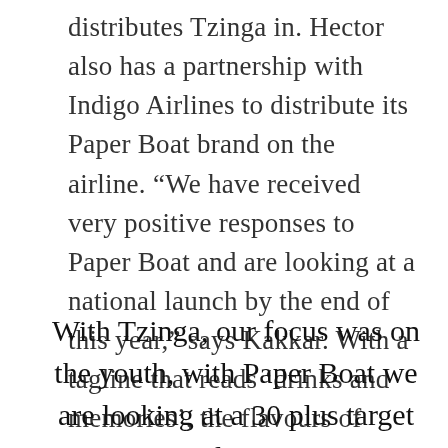distributes Tzinga in. Hector also has a partnership with Indigo Airlines to distribute its Paper Boat brand on the airline. “We have received very positive responses to Paper Boat and are looking at a national launch by the end of this year,” says Kakkar. With a tagline that reads ‘drinks and memories’, the flavours of Paper Boat are meant to take its drinkers on a happy trip down memory lane.
With Tzinga, our focus was on the youth, with Paper Boat we are looking at a 30 plus target audience.